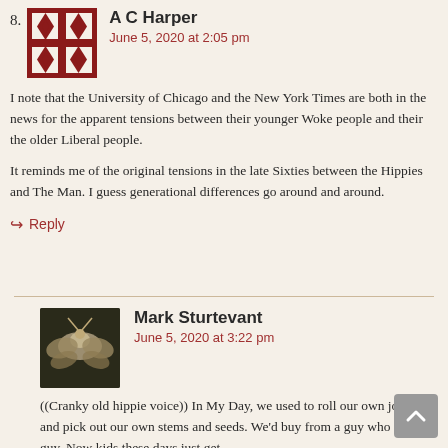8. A C Harper
June 5, 2020 at 2:05 pm

I note that the University of Chicago and the New York Times are both in the news for the apparent tensions between their younger Woke people and their the older Liberal people.

It reminds me of the original tensions in the late Sixties between the Hippies and The Man. I guess generational differences go around and around.

Reply
Mark Sturtevant
June 5, 2020 at 3:22 pm

((Cranky old hippie voice)) In My Day, we used to roll our own joints, and pick out our own stems and seeds. We'd buy from a guy who knew a guy. Now kids these days just get